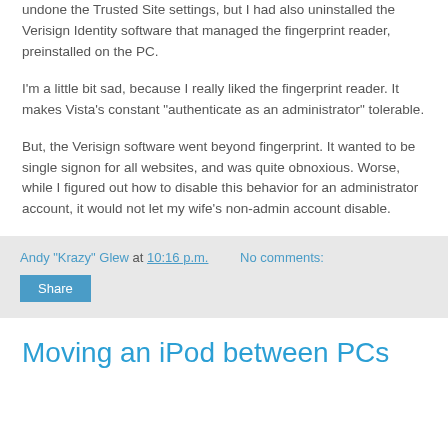undone the Trusted Site settings, but I had also uninstalled the Verisign Identity software that managed the fingerprint reader, preinstalled on the PC.
I'm a little bit sad, because I really liked the fingerprint reader. It makes Vista's constant "authenticate as an administrator" tolerable.
But, the Verisign software went beyond fingerprint. It wanted to be single signon for all websites, and was quite obnoxious. Worse, while I figured out how to disable this behavior for an administrator account, it would not let my wife's non-admin account disable.
Andy "Krazy" Glew at 10:16 p.m.   No comments:  Share
Moving an iPod between PCs